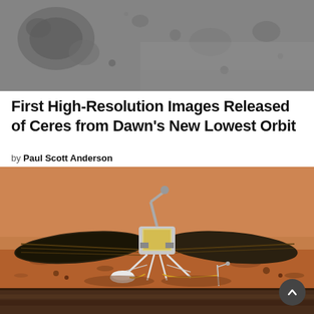[Figure (photo): Grayscale high-resolution image of Ceres surface from Dawn spacecraft, showing craters and rocky terrain]
First High-Resolution Images Released of Ceres from Dawn's New Lowest Orbit
by Paul Scott Anderson
7 years ago
[Figure (photo): Illustration/artist rendering of NASA InSight Mars lander on the Martian surface with large solar panels deployed and robotic arm visible, against an orange Martian landscape]